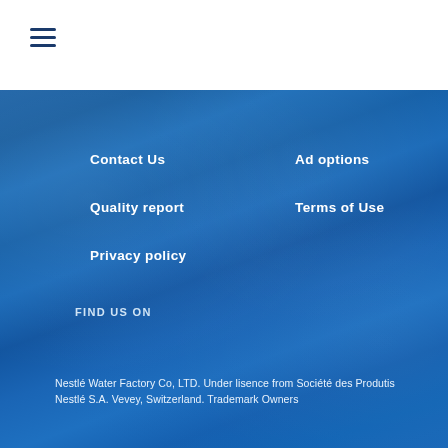[Figure (other): Hamburger menu icon (three horizontal lines) in dark blue on white background]
Contact Us
Ad options
Quality report
Terms of Use
Privacy policy
FIND US ON
Nestlé Water Factory Co, LTD. Under lisence from Société des Produtis Nestlé S.A. Vevey, Switzerland. Trademark Owners